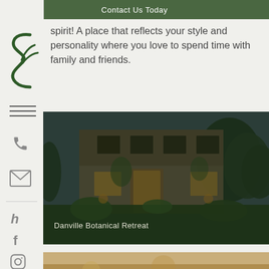Contact Us Today
spirit! A place that reflects your style and personality where you love to spend time with family and friends.
[Figure (photo): Exterior photo of a stone house at dusk with lush green landscaping and illuminated windows, labeled 'Danville Botanical Retreat']
Danville Botanical Retreat
[Figure (photo): Partial view of a second project photo at the bottom of the page]